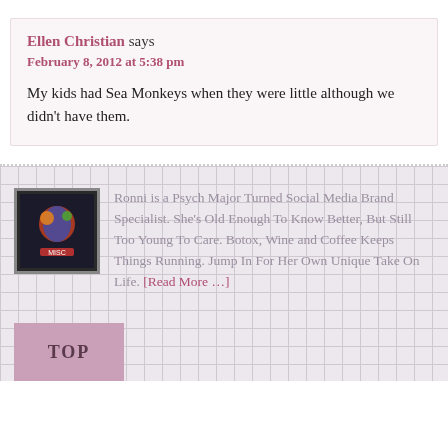Ellen Christian says
February 8, 2012 at 5:38 pm
My kids had Sea Monkeys when they were little although we didn't have them.
[Figure (photo): Small avatar/logo image with colorful graphic on dark background]
Ronni is a Psych Major Turned Social Media Brand Specialist. She's Old Enough To Know Better, But Still Too Young To Care. Botox, Wine and Coffee Keeps Things Running. Jump In For Her Own Unique Take On Life. [Read More …]
TOP